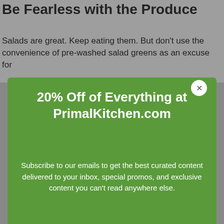Be Fearless with the Produce
Salads are great. Keep eating them. But don't use the convenience of pre-washed salad greens as an excuse for
[Figure (screenshot): Green modal popup offering 20% Off of Everything at PrimalKitchen.com, with subscription email input field and close button]
20% Off of Everything at PrimalKitchen.com
Subscribe to our emails to get the best curated content delivered to your inbox, special promos, and exclusive content you can't read anywhere else.
Enter your email address
By clicking “Accept All Cookies”, you agree to the storing of cookies on your device to enhance site navigation, analyze site usage, and assist in our marketing efforts.
Accept All Cookies